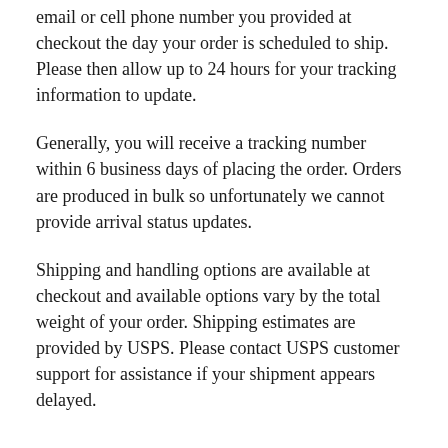email or cell phone number you provided at checkout the day your order is scheduled to ship. Please then allow up to 24 hours for your tracking information to update.
Generally, you will receive a tracking number within 6 business days of placing the order. Orders are produced in bulk so unfortunately we cannot provide arrival status updates.
Shipping and handling options are available at checkout and available options vary by the total weight of your order. Shipping estimates are provided by USPS. Please contact USPS customer support for assistance if your shipment appears delayed.